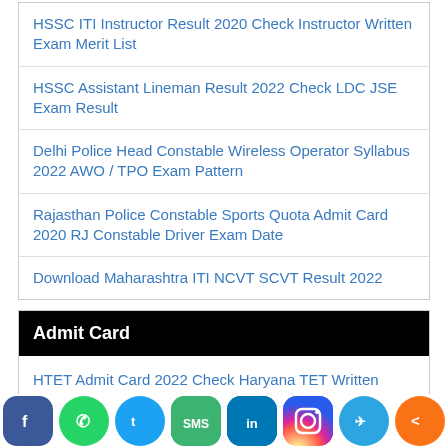HSSC ITI Instructor Result 2020 Check Instructor Written Exam Merit List
HSSC Assistant Lineman Result 2022 Check LDC JSE Exam Result
Delhi Police Head Constable Wireless Operator Syllabus 2022 AWO / TPO Exam Pattern
Rajasthan Police Constable Sports Quota Admit Card 2020 RJ Constable Driver Exam Date
Download Maharashtra ITI NCVT SCVT Result 2022
Admit Card
HTET Admit Card 2022 Check Haryana TET Written Exam Date
RSMSSB Patwari Admit Card 2022 RSMSSB Written Exam Date
Rajasthan Police Constable Admit Card 2022 Check PET PST Exam Date
[Figure (infographic): Social media sharing bar with icons: Facebook, WhatsApp, Twitter, SMS, LinkedIn, Instagram, Telegram, Share]